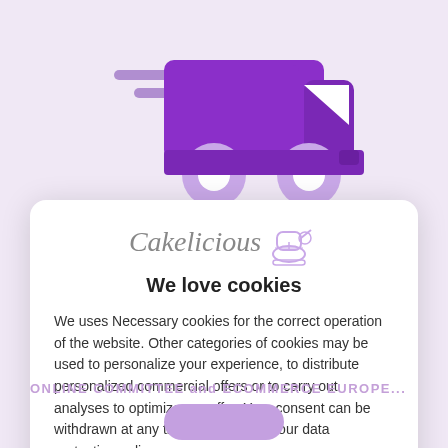[Figure (illustration): Purple delivery truck / van illustration with speed lines, shown on a light purple background]
[Figure (logo): Cakelicious brand logo with italic script text and a stand mixer icon]
We love cookies
We uses Necessary cookies for the correct operation of the website. Other categories of cookies may be used to personalize your experience, to distribute personalized commercial offers or to carry out analyses to optimize our offer. Your consent can be withdrawn at any time via the link in our data protection policy.
Customize
More info
Accept
ONLINE COMMITTEE and ECOMMERCE EUROPE...